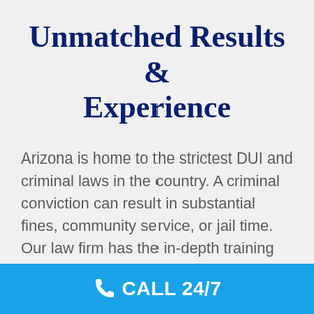Unmatched Results & Experience
Arizona is home to the strictest DUI and criminal laws in the country. A criminal conviction can result in substantial fines, community service, or jail time. Our law firm has the in-depth training and knowledge needed to defend you. Trust the protection of your rights to lawyers who have built a name for themselves in DUI and criminal defense.
CALL 24/7